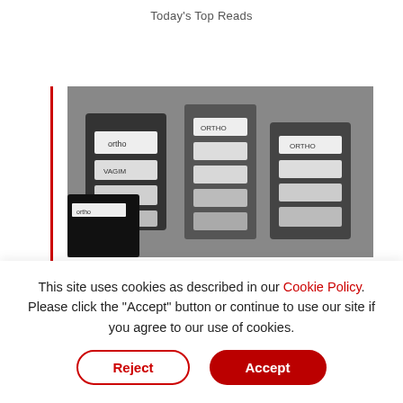Today's Top Reads
[Figure (photo): Black and white photo of pharmaceutical products / medication packaging with labels, courtesy of Johnson & Johnson Archives]
Image courtesy of Johnson & Johnson Archives
1931
Launching Prescription Family Planning
This site uses cookies as described in our Cookie Policy. Please click the "Accept" button or continue to use our site if you agree to our use of cookies.